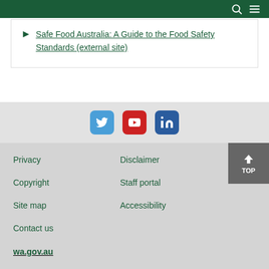Safe Food Australia: A Guide to the Food Safety Standards (external site)
[Figure (infographic): Social media icons: Twitter, YouTube, LinkedIn]
Privacy | Disclaimer | Copyright | Staff portal | Site map | Accessibility | Contact us | wa.gov.au